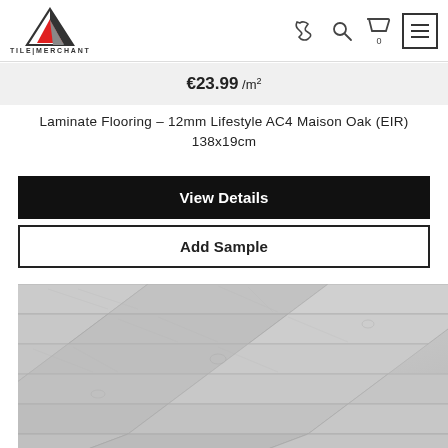TILE|MERCHANT
€23.99 /m²
Laminate Flooring – 12mm Lifestyle AC4 Maison Oak (EIR) 138x19cm
View Details
Add Sample
[Figure (photo): Close-up photo of light grey/white laminate wood flooring planks laid diagonally, showing wood grain texture (Maison Oak EIR finish)]